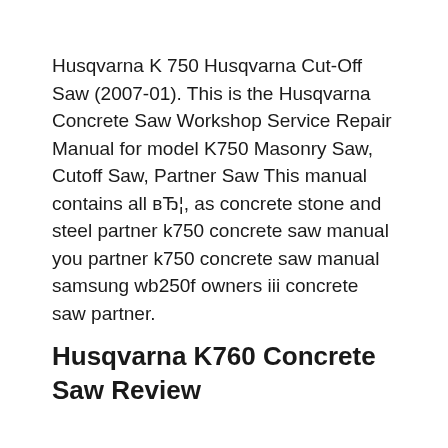Husqvarna K 750 Husqvarna Cut-Off Saw (2007-01). This is the Husqvarna Concrete Saw Workshop Service Repair Manual for model K750 Masonry Saw, Cutoff Saw, Partner Saw This manual contains all вЂ¦, as concrete stone and steel partner k750 concrete saw manual you partner k750 concrete saw manual samsung wb250f owners iii concrete saw partner.
Husqvarna K760 Concrete Saw Review